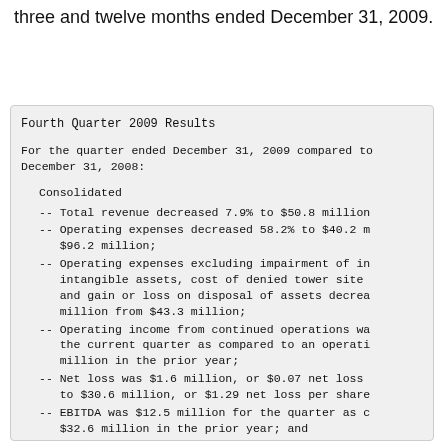three and twelve months ended December 31, 2009.
Fourth Quarter 2009 Results
For the quarter ended December 31, 2009 compared to December 31, 2008:
Consolidated
-- Total revenue decreased 7.9% to $50.8 million
-- Operating expenses decreased 58.2% to $40.2 m $96.2 million;
-- Operating expenses excluding impairment of in intangible assets, cost of denied tower site and gain or loss on disposal of assets decrea million from $43.3 million;
-- Operating income from continued operations wa the current quarter as compared to an operati million in the prior year;
-- Net loss was $1.6 million, or $0.07 net loss to $30.6 million, or $1.29 net loss per share
-- EBITDA was $12.5 million for the quarter as c $32.6 million in the prior year; and